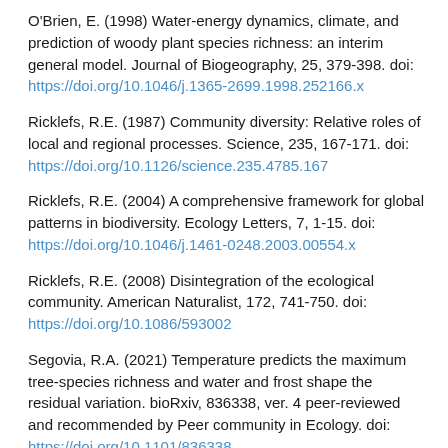O'Brien, E. (1998) Water-energy dynamics, climate, and prediction of woody plant species richness: an interim general model. Journal of Biogeography, 25, 379-398. doi: https://doi.org/10.1046/j.1365-2699.1998.252166.x
Ricklefs, R.E. (1987) Community diversity: Relative roles of local and regional processes. Science, 235, 167-171. doi: https://doi.org/10.1126/science.235.4785.167
Ricklefs, R.E. (2004) A comprehensive framework for global patterns in biodiversity. Ecology Letters, 7, 1-15. doi: https://doi.org/10.1046/j.1461-0248.2003.00554.x
Ricklefs, R.E. (2008) Disintegration of the ecological community. American Naturalist, 172, 741-750. doi: https://doi.org/10.1086/593002
Segovia, R.A. (2021) Temperature predicts the maximum tree-species richness and water and frost shape the residual variation. bioRxiv, 836338, ver. 4 peer-reviewed and recommended by Peer community in Ecology. doi: https://doi.org/10.1101/836338
Segovia, R.A., Pennington, R.T., Baker, T.R., Coelho de Souza, F., ...